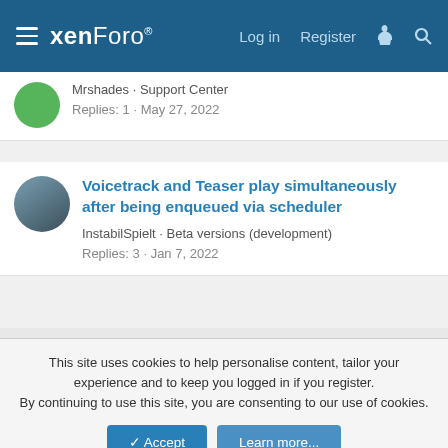xenForo  Log in  Register
Mrshades · Support Center
Replies: 1 · May 27, 2022
Voicetrack and Teaser play simultaneously after being enqueued via scheduler
InstabilSpielt · Beta versions (development)
Replies: 3 · Jan 7, 2022
Share:
< Beta versions (development)
Terms and rules  Privacy policy  Help  Home
This site uses cookies to help personalise content, tailor your experience and to keep you logged in if you register.
By continuing to use this site, you are consenting to our use of cookies.
✔ Accept  Learn more...